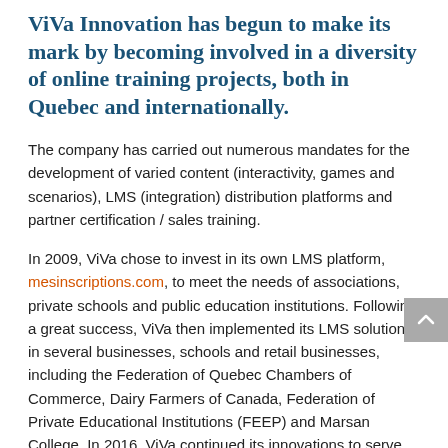ViVa Innovation has begun to make its mark by becoming involved in a diversity of online training projects, both in Quebec and internationally.
The company has carried out numerous mandates for the development of varied content (interactivity, games and scenarios), LMS (integration) distribution platforms and partner certification / sales training.
In 2009, ViVa chose to invest in its own LMS platform, mesinscriptions.com, to meet the needs of associations, private schools and public education institutions. Following a great success, ViVa then implemented its LMS solution in several businesses, schools and retail businesses, including the Federation of Quebec Chambers of Commerce, Dairy Farmers of Canada, Federation of Private Educational Institutions (FEEP) and Marsan College. In 2016, ViVa continued its innovations to serve the Regroupement des CPE of